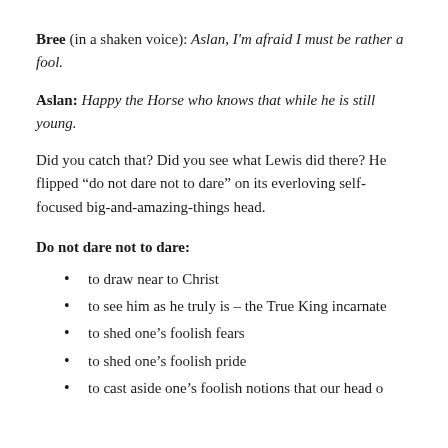Bree (in a shaken voice): Aslan, I'm afraid I must be rather a fool.
Aslan: Happy the Horse who knows that while he is still young.
Did you catch that? Did you see what Lewis did there? He flipped “do not dare not to dare” on its everloving self-focused big-and-amazing-things head.
Do not dare not to dare:
to draw near to Christ
to see him as he truly is – the True King incarnate
to shed one’s foolish fears
to shed one’s foolish pride
to cast aside one’s foolish notions that our head...